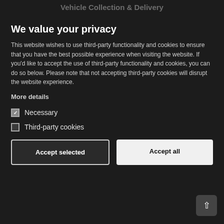Vehicle Collection & Delivery
We value your privacy
This website wishes to use third-party functionality and cookies to ensure that you have the best possible experience when visiting the website. If you'd like to accept the use of third-party functionality and cookies, you can do so below. Please note that not accepting third-party cookies will disrupt the website experience.
More details
Necessary
Third-party cookies
Accept selected
Accept all